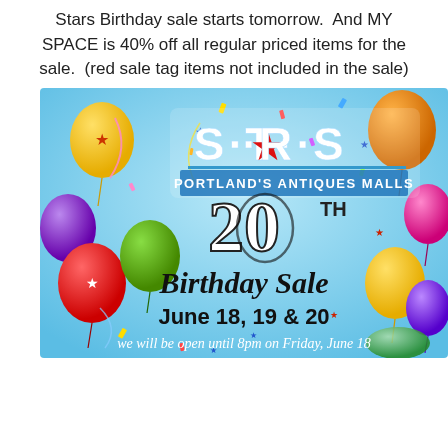Stars Birthday sale starts tomorrow. And MY SPACE is 40% off all regular priced items for the sale. (red sale tag items not included in the sale)
[Figure (illustration): Stars Portland's Antiques Malls 20th Birthday Sale banner with colorful balloons on a blue background. Text reads: S·T·★·R·S PORTLAND'S ANTIQUES MALLS 20TH Birthday Sale June 18, 19 & 20. we will be open until 8pm on Friday, June 18]